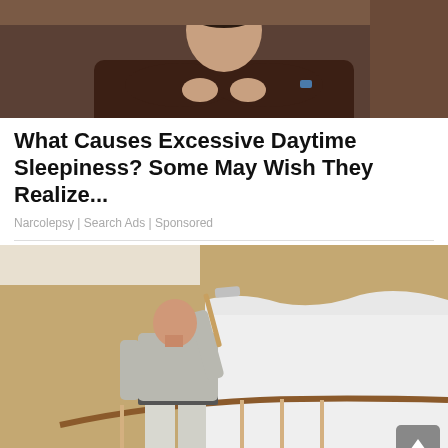[Figure (photo): A man in a dark maroon/brown sweater with arms crossed, seated on a couch, photographed from torso up.]
What Causes Excessive Daytime Sleepiness? Some May Wish They Realize...
Narcolepsy | Search Ads | Sponsored
[Figure (photo): A bald man in a light grey t-shirt painting a wall white with a paint roller, standing on a staircase with tan/gold walls.]
Avarage Painter Salary In 2022 Is Just